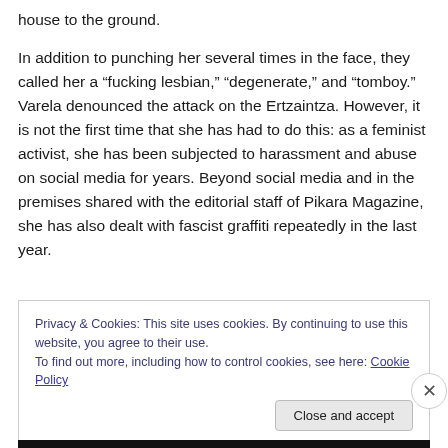house to the ground.

In addition to punching her several times in the face, they called her a “fucking lesbian,” “degenerate,” and “tomboy.” Varela denounced the attack on the Ertzaintza. However, it is not the first time that she has had to do this: as a feminist activist, she has been subjected to harassment and abuse on social media for years. Beyond social media and in the premises shared with the editorial staff of Pikara Magazine, she has also dealt with fascist graffiti repeatedly in the last year.
Privacy & Cookies: This site uses cookies. By continuing to use this website, you agree to their use.
To find out more, including how to control cookies, see here: Cookie Policy